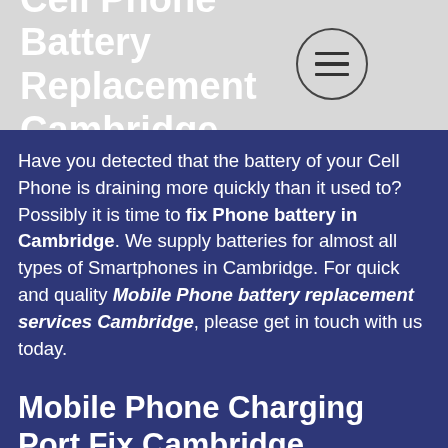Cell Phone Battery Replacement Cambridge
[Figure (other): Hamburger menu button circle icon]
Have you detected that the battery of your Cell Phone is draining more quickly than it used to? Possibly it is time to fix Phone battery in Cambridge. We supply batteries for almost all types of Smartphones in Cambridge. For quick and quality Mobile Phone battery replacement services Cambridge, please get in touch with us today.
Mobile Phone Charging Port Fix Cambridge